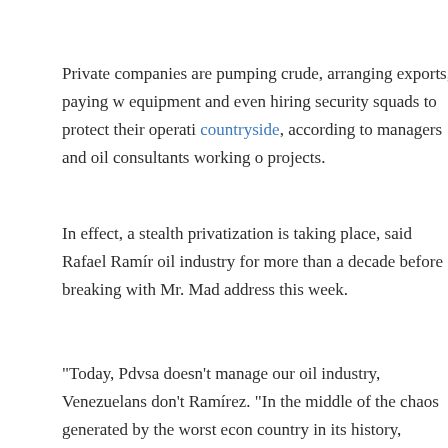Private companies are pumping crude, arranging exports, paying wages for equipment and even hiring security squads to protect their operations in the countryside, according to managers and oil consultants working on the projects.
In effect, a stealth privatization is taking place, said Rafael Ramírez, who ran the oil industry for more than a decade before breaking with Mr. Mad… in an address this week.
"Today, Pdvsa doesn't manage our oil industry, Venezuelans don't t…" said Ramírez. "In the middle of the chaos generated by the worst econ… country in its history, Maduro is taking actions to cede, transfer an… operations to private capital."